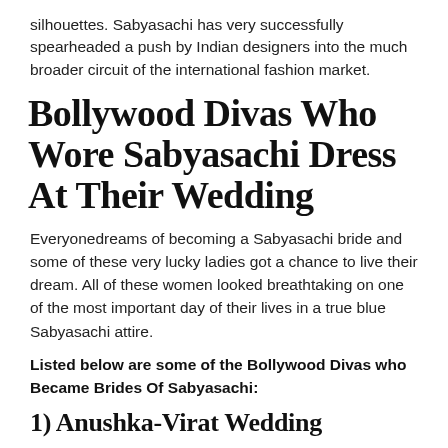silhouettes. Sabyasachi has very successfully spearheaded a push by Indian designers into the much broader circuit of the international fashion market.
Bollywood Divas Who Wore Sabyasachi Dress At Their Wedding
Everyonedreams of becoming a Sabyasachi bride and some of these very lucky ladies got a chance to live their dream. All of these women looked breathtaking on one of the most important day of their lives in a true blue Sabyasachi attire.
Listed below are some of the Bollywood Divas who Became Brides Of Sabyasachi:
1) Anushka-Virat Wedding